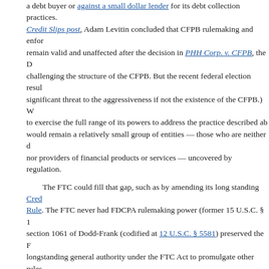a debt buyer or against a small dollar lender for its debt collection practices. In a Credit Slips post, Adam Levitin concluded that CFPB rulemaking and enforcement remain valid and unaffected after the decision in PHH Corp. v. CFPB, the D.C. Circuit decision challenging the structure of the CFPB. But the recent federal election results pose a significant threat to the aggressiveness if not the existence of the CFPB.) Were the CFPB not to exercise the full range of its powers to address the practice described above, there would remain a relatively small group of entities — those who are neither debt collectors nor providers of financial products or services — uncovered by regulation.
The FTC could fill that gap, such as by amending its long standing Credit Practices Rule. The FTC never had FDCPA rulemaking power (former 15 U.S.C. § 1692l), but section 1061 of Dodd-Frank (codified at 12 U.S.C. § 5581) preserved the FTC's longstanding general authority under the FTC Act to promulgate other rules addressing unfair acts or practices in or affecting commerce other than with respect to "enumerated consumer law" for which authority has been transferred to the CFPB.
In the meantime, of course, the judgment debtor faced with an execution sale and a pending FDCPA cause of action could preserve its cause of action by paying off the debt or outbidding the debt collector at an execution sale. (Tongue planted firmly...
November 15, 2016 at 10:59 AM in Debt Collection
[Figure (other): Social sharing icons: Twitter, Facebook, Email, LinkedIn, More Options]
Comments